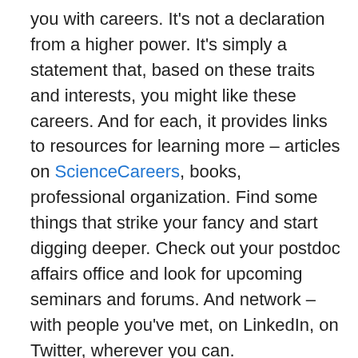you with careers. It's not a declaration from a higher power. It's simply a statement that, based on these traits and interests, you might like these careers. And for each, it provides links to resources for learning more – articles on ScienceCareers, books, professional organization. Find some things that strike your fancy and start digging deeper. Check out your postdoc affairs office and look for upcoming seminars and forums. And network – with people you've met, on LinkedIn, on Twitter, wherever you can.
Hopefully advisers will create an environment that permits open discussion of career paths. If so, talk to them about why you're interested in a particular career, why you think you'd be good at it, what you think you need to work on. Understand they may have distinct conflicts of interest, like